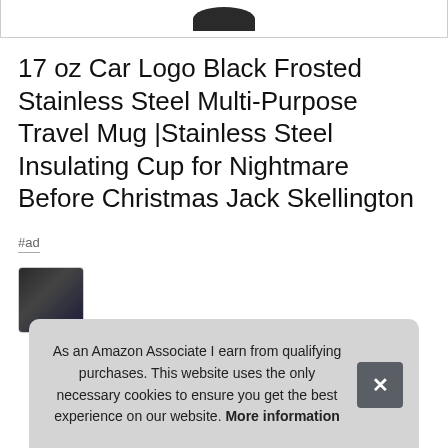[Figure (photo): Top portion of a dark/black travel mug product image, partially visible at top of page]
17 oz Car Logo Black Frosted Stainless Steel Multi-Purpose Travel Mug |Stainless Steel Insulating Cup for Nightmare Before Christmas Jack Skellington
#ad
[Figure (photo): Partially visible product thumbnail image showing dark colored item]
As an Amazon Associate I earn from qualifying purchases. This website uses the only necessary cookies to ensure you get the best experience on our website. More information